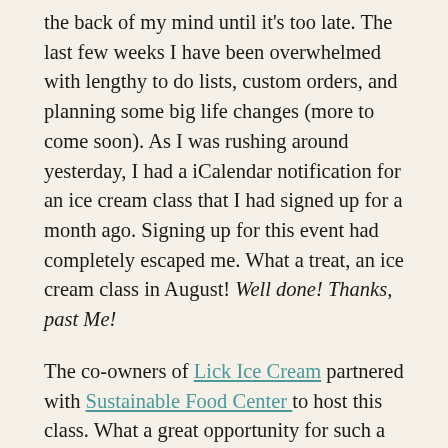the back of my mind until it's too late. The last few weeks I have been overwhelmed with lengthy to do lists, custom orders, and planning some big life changes (more to come soon). As I was rushing around yesterday, I had a iCalendar notification for an ice cream class that I had signed up for a month ago. Signing up for this event had completely escaped me. What a treat, an ice cream class in August! Well done! Thanks, past Me!
The co-owners of Lick Ice Cream partnered with Sustainable Food Center to host this class. What a great opportunity for such a great cause, for more on that click here. There was a demo and then we broke off into groups to create our own fig inspired ice cream! We were given a base,